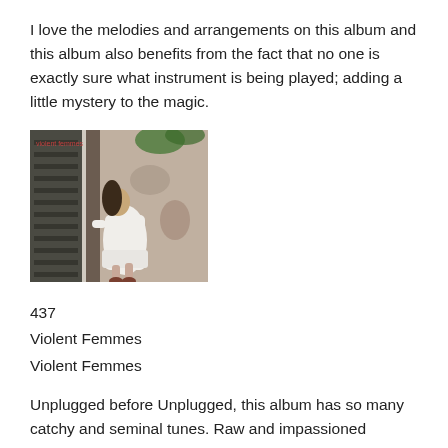I love the melodies and arrangements on this album and this album also benefits from the fact that no one is exactly sure what instrument is being played; adding a little mystery to the magic.
[Figure (photo): Album cover for Violent Femmes self-titled debut album, showing a young girl in a white dress peering through a doorway or window of a weathered building. Text 'violent femmes' appears in the top left corner.]
437
Violent Femmes
Violent Femmes
Unplugged before Unplugged, this album has so many catchy and seminal tunes. Raw and impassioned